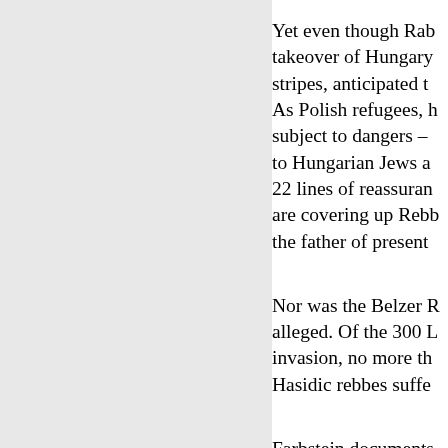Yet even though Rab takeover of Hungary stripes, anticipated t As Polish refugees, h subject to dangers – to Hungarian Jews a 22 lines of reassuran are covering up Rebb the father of present
Nor was the Belzer R alleged. Of the 300 L invasion, no more th Hasidic rebbes suffe
Farbstein documents wage war against C